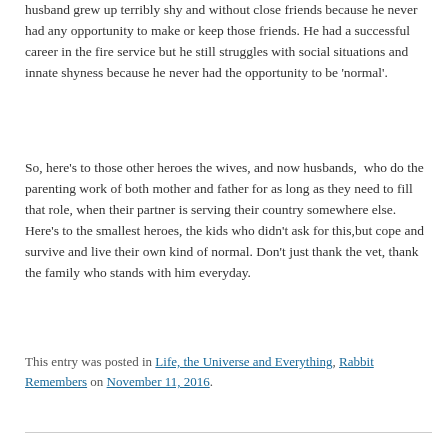husband grew up terribly shy and without close friends because he never had any opportunity to make or keep those friends. He had a successful career in the fire service but he still struggles with social situations and innate shyness because he never had the opportunity to be 'normal'.
So, here's to those other heroes the wives, and now husbands,  who do the parenting work of both mother and father for as long as they need to fill that role, when their partner is serving their country somewhere else. Here's to the smallest heroes, the kids who didn't ask for this,but cope and survive and live their own kind of normal. Don't just thank the vet, thank the family who stands with him everyday.
This entry was posted in Life, the Universe and Everything, Rabbit Remembers on November 11, 2016.